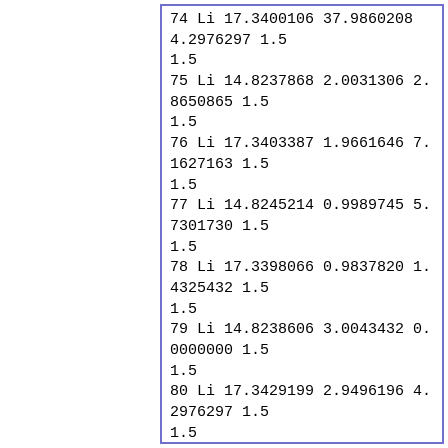74 Li 17.3400106 37.9860208 4.2976297 1.5 1.5
75 Li 14.8237868 2.0031306 2.8650865 1.5 1.5
76 Li 17.3403387 1.9661646 7.1627163 1.5 1.5
77 Li 14.8245214 0.9989745 5.7301730 1.5 1.5
78 Li 17.3398066 0.9837820 1.4325432 1.5 1.5
79 Li 14.8238606 3.0043432 0.0000000 1.5 1.5
80 Li 17.3429199 2.9496196 4.2976297 1.5 1.5
81 Li 14.8286193 5.0019909 2.8650865 1.5 1.5
82 Li 17.3460979 4.9112638 7.1627163 1.5 1.5
83 Li 14.8262563 4.0026646 5.7301730 1.5 1.5
84 Li 17.3436055 3.9318106 1.4325432 1.5 1.5
85 Li 14.8315806 5.9993108 0.0000000 1.5 1.5
86 Li 17.3495887 5.8906753 4.2976297 1.5 1.5
87 Li 14.8409422 7.0000500 2.8650865 1.5 1.5